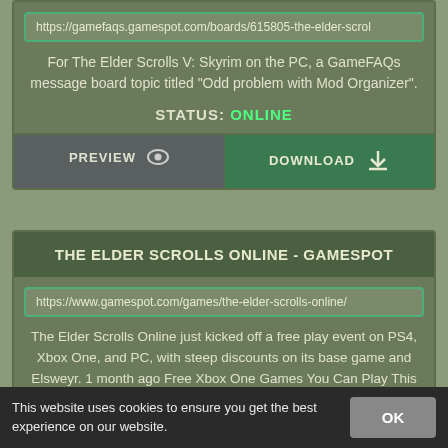https://gamefaqs.gamespot.com/boards/615805-the-elder-scrol
For The Elder Scrolls V: Skyrim on the PC, a GameFAQs message board topic titled "Odd problem with Mod Organizer".
STATUS: ONLINE
PREVIEW
DOWNLOAD
THE ELDER SCROLLS ONLINE - GAMESPOT
https://www.gamespot.com/games/the-elder-scrolls-online/
The Elder Scrolls Online just kicked off a free play event on PS4, Xbox One, and PC, with steep discounts on its base game and Elsweyr. 1 month ago Free Xbox One Games You Can Play This Weekend
This website uses cookies to ensure you get the best experience on our website.